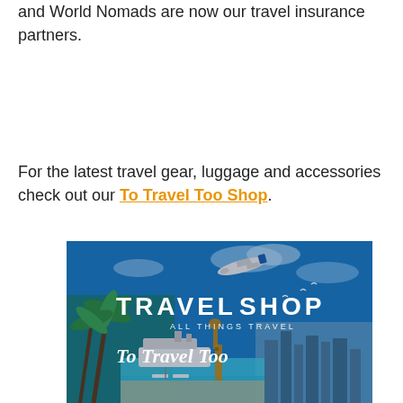and World Nomads are now our travel insurance partners.
For the latest travel gear, luggage and accessories check out our To Travel Too Shop.
[Figure (photo): Travel Shop promotional banner image showing a collage of travel scenes: airplane in blue sky, palm trees, cruise ship, giraffe, beach with lounge chairs, city skyline. Text overlays read TRAVEL SHOP, ALL THINGS TRAVEL, To Travel Too.]